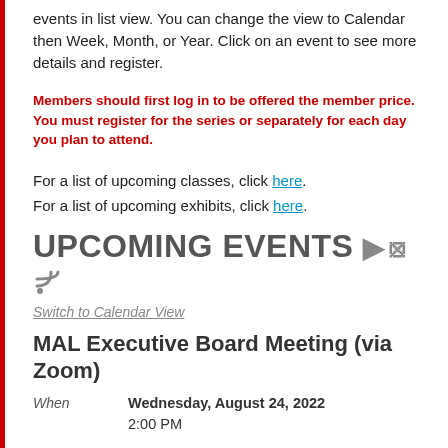events in list view. You can change the view to Calendar then Week, Month, or Year. Click on an event to see more details and register.
Members should first log in to be offered the member price. You must register for the series or separately for each day you plan to attend.
For a list of upcoming classes, click here.
For a list of upcoming exhibits, click here.
UPCOMING EVENTS
Switch to Calendar View
MAL Executive Board Meeting (via Zoom)
When: Wednesday, August 24, 2022 2:00 PM
Location: Online
Registered: Be the first
Register